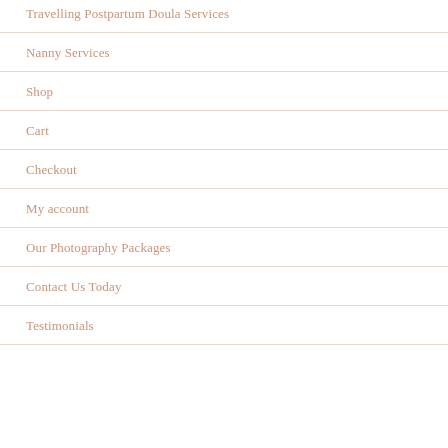Travelling Postpartum Doula Services
Nanny Services
Shop
Cart
Checkout
My account
Our Photography Packages
Contact Us Today
Testimonials